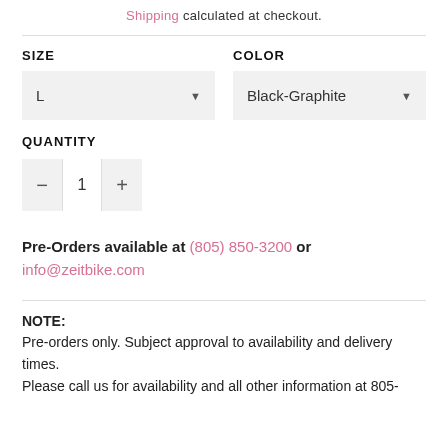Shipping calculated at checkout.
SIZE
COLOR
L
Black-Graphite
QUANTITY
1
Pre-Orders available at (805) 850-3200 or info@zeitbike.com
NOTE:
Pre-orders only. Subject approval to availability and delivery times.
Please call us for availability and all other information at 805-